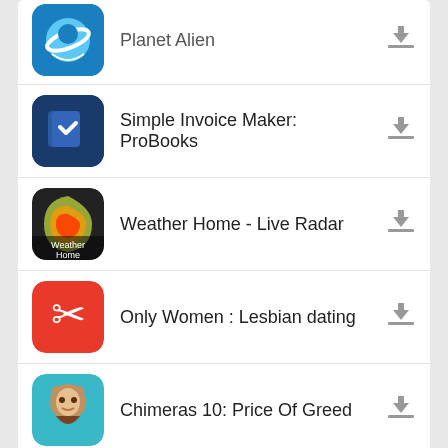Planet Alien (partial, top)
Simple Invoice Maker: ProBooks
Weather Home - Live Radar
Only Women : Lesbian dating
Chimeras 10: Price Of Greed
Bro Browser
Popular In Last 7 Days